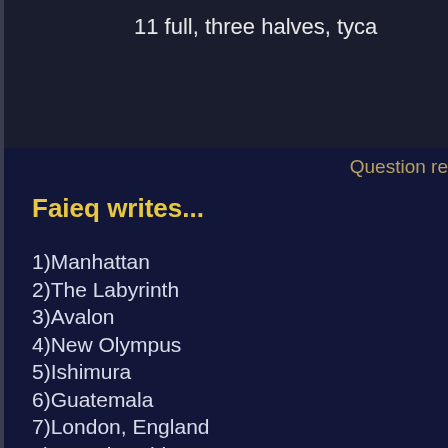11 full, three halves, tyca
Question re
Faieq writes...
1)Manhattan
2)The Labyrinth
3)Avalon
4)New Olympus
5)Ishimura
6)Guatemala
7)London, England
8)Xanadu, China
9)Loch Ness
10)Wyvern, Scotland
11)Paris
12)Antartica
13)Camelot
14)Greenland